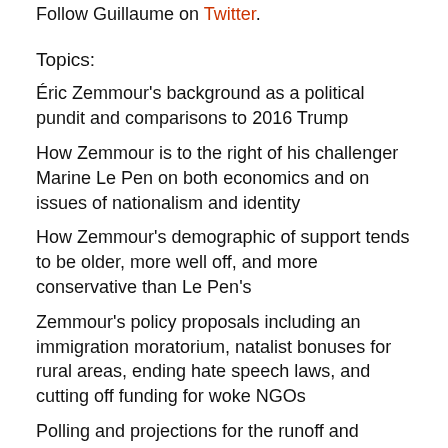Follow Guillaume on Twitter.
Topics:
Éric Zemmour's background as a political pundit and comparisons to 2016 Trump
How Zemmour is to the right of his challenger Marine Le Pen on both economics and on issues of nationalism and identity
How Zemmour's demographic of support tends to be older, more well off, and more conservative than Le Pen's
Zemmour's policy proposals including an immigration moratorium, natalist bonuses for rural areas, ending hate speech laws, and cutting off funding for woke NGOs
Polling and projections for the runoff and general election and how it is Macron's election to lose
Zemmour's strategy of balancing assimilationism with preserving an "ethnic steady state"
A case for the right to embrace multiculturalism as an